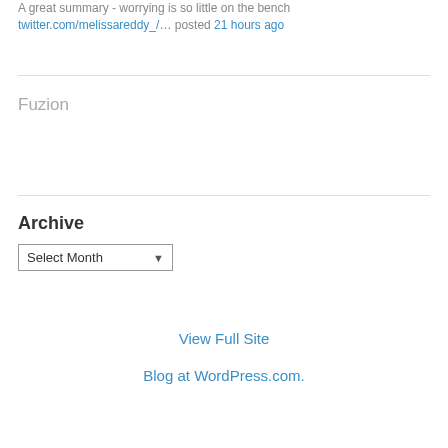A great summary - worrying is so little on the bench twitter.com/melissareddy_/… posted 21 hours ago
Fuzion
Archive
Select Month (dropdown)
View Full Site
Blog at WordPress.com.